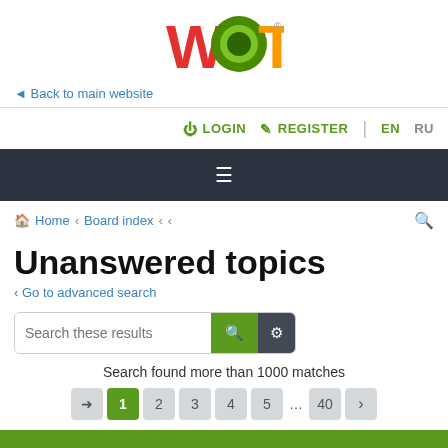[Figure (logo): WOT logo — W in red, O as green circle, T in orange, with registered trademark symbol]
◄ Back to main website
⏻ LOGIN   ✎ REGISTER   |   EN  RU
[Figure (other): Dark navigation bar with hamburger menu icon (three horizontal lines)]
🏠 Home ‹ Board index ‹ ‹
Unanswered topics
‹ Go to advanced search
[Figure (other): Search input box labeled 'Search these results' with green search button and dark gear settings button]
Search found more than 1000 matches
Pagination: ➜ 1 2 3 4 5 ... 40 >